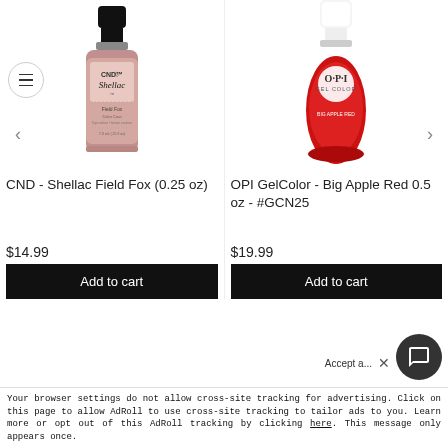[Figure (photo): CND Shellac Field Fox nail polish bottle - dusty rose/mauve color]
[Figure (photo): OPI GelColor Big Apple Red nail polish bottle - bright red color]
CND - Shellac Field Fox (0.25 oz)
OPI GelColor - Big Apple Red 0.5 oz - #GCN25
$14.99
$19.99
Add to cart
Add to cart
Accept a... × Your browser settings do not allow cross-site tracking for advertising. Click on this page to allow AdRoll to use cross-site tracking to tailor ads to you. Learn more or opt out of this AdRoll tracking by clicking here. This message only appears once.